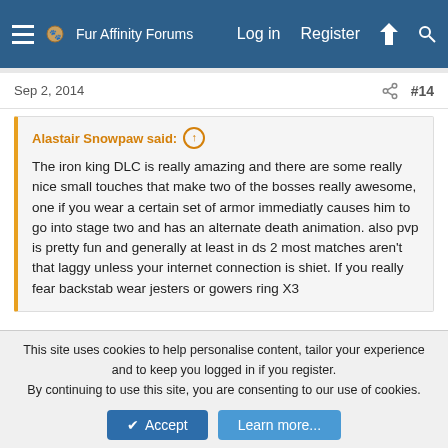Fur Affinity Forums  Log in  Register
Sep 2, 2014  #14
Alastair Snowpaw said: ↑  The iron king DLC is really amazing and there are some really nice small touches that make two of the bosses really awesome, one if you wear a certain set of armor immediatly causes him to go into stage two and has an alternate death animation. also pvp is pretty fun and generally at least in ds 2 most matches aren't that laggy unless your internet connection is shiet. If you really fear backstab wear jesters or gowers ring X3
Oh I know. I basically spoiled myself on the wiki the first day it came out. I think that it's really cool for them to do that. From Software is getting really good at adding little touches like that to
This site uses cookies to help personalise content, tailor your experience and to keep you logged in if you register.
By continuing to use this site, you are consenting to our use of cookies.